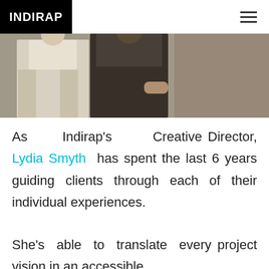INDIRAP
[Figure (photo): Cropped photo of two people standing together, one in a white outfit and one in dark clothing, against a dark background]
As Indirap's Creative Director, Lydia Smyth has spent the last 6 years guiding clients through each of their individual experiences.
She's able to translate every project vision in an accessible